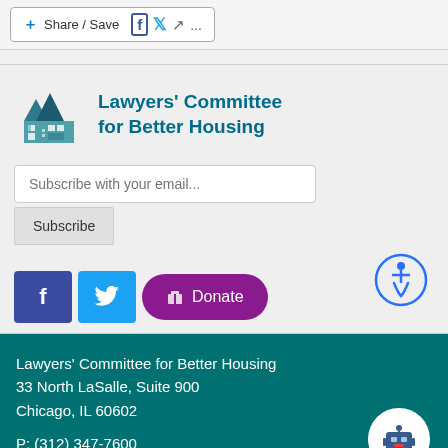[Figure (screenshot): Share/Save toolbar with Facebook, Twitter, and share icons]
[Figure (logo): Lawyers' Committee for Better Housing logo with mountain/house icon]
Lawyers' Committee for Better Housing
Subscribe with your email...
Subscribe
[Figure (infographic): Social media buttons: Facebook, Twitter, Donate, and accessibility icon]
Lawyers' Committee for Better Housing
33 North LaSalle, Suite 900
Chicago, IL 60602

P: (312) 347-7600
F: (312) 347-7604